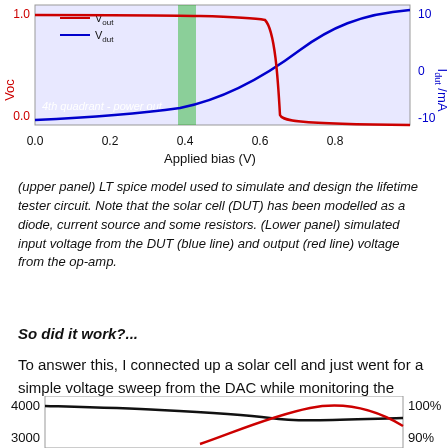[Figure (continuous-plot): Lower panel of LT Spice simulation showing applied bias (V) on x-axis (0.0 to 0.8), left y-axis Voc (0.0 to 1.0 in red), right y-axis in blue (−10 to 10 mA). Blue curve Vdut rises from 0, red curve drops sharply near 0.65V. Green shaded region near 0.45V. Label '4th quadrant - power out' in lower-left of plot area.]
(upper panel) LT spice model used to simulate and design the lifetime tester circuit. Note that the solar cell (DUT) has been modelled as a diode, current source and some resistors. (Lower panel) simulated input voltage from the DUT (blue line) and output (red line) voltage from the op-amp.
So did it work?...
To answer this, I connected up a solar cell and just went for a simple voltage sweep from the DAC while monitoring the current using the ADC. Here's what the data looked like...
[Figure (continuous-plot): Bottom chart partially visible showing y-axis labels 4000, 3000 on left and 100%, 90% on right (DU label in red on far right). Black curve decreases then rises, red curve shows a hump shape.]